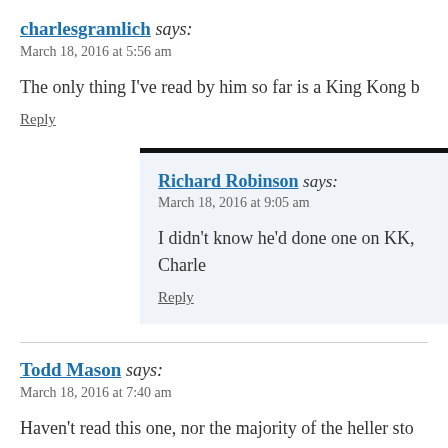charlesgramlich says:
March 18, 2016 at 5:56 am
The only thing I've read by him so far is a King Kong b
Reply
Richard Robinson says:
March 18, 2016 at 9:05 am
I didn't know he'd done one on KK, Charle
Reply
Todd Mason says:
March 18, 2016 at 7:40 am
Haven't read this one, nor the majority of the heller sto akin to Loren Estleman (not too unlikely, nor novel, a c